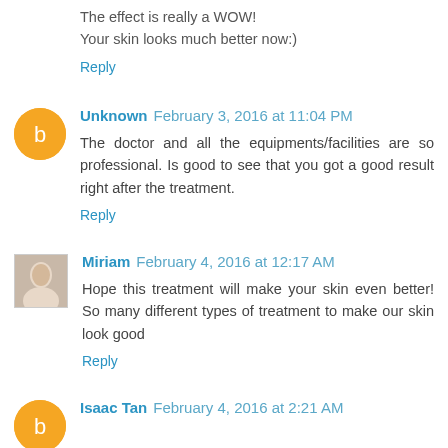The effect is really a WOW!
Your skin looks much better now:)
Reply
Unknown February 3, 2016 at 11:04 PM
The doctor and all the equipments/facilities are so professional. Is good to see that you got a good result right after the treatment.
Reply
Miriam February 4, 2016 at 12:17 AM
Hope this treatment will make your skin even better! So many different types of treatment to make our skin look good
Reply
Isaac Tan February 4, 2016 at 2:21 AM